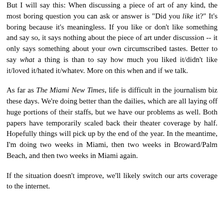But I will say this: When discussing a piece of art of any kind, the most boring question you can ask or answer is "Did you like it?" It's boring because it's meaningless. If you like or don't like something and say so, it says nothing about the piece of art under discussion -- it only says something about your own circumscribed tastes. Better to say what a thing is than to say how much you liked it/didn't like it/loved it/hated it/whatev. More on this when and if we talk.
As far as The Miami New Times, life is difficult in the journalism biz these days. We're doing better than the dailies, which are all laying off huge portions of their staffs, but we have our problems as well. Both papers have temporarily scaled back their theater coverage by half. Hopefully things will pick up by the end of the year. In the meantime, I'm doing two weeks in Miami, then two weeks in Broward/Palm Beach, and then two weeks in Miami again.
If the situation doesn't improve, we'll likely switch our arts coverage to the internet.